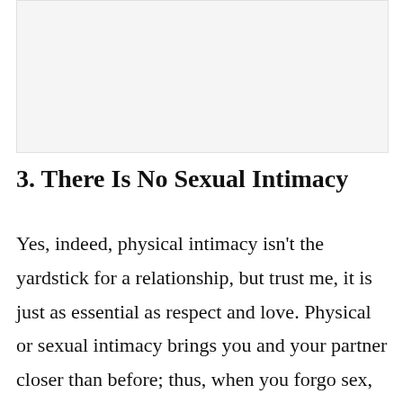[Figure (other): Blank or image placeholder area at top of page]
3. There Is No Sexual Intimacy
Yes, indeed, physical intimacy isn't the yardstick for a relationship, but trust me, it is just as essential as respect and love. Physical or sexual intimacy brings you and your partner closer than before; thus, when you forgo sex,